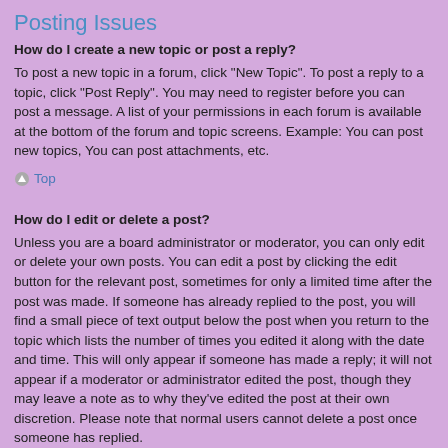Posting Issues
How do I create a new topic or post a reply?
To post a new topic in a forum, click "New Topic". To post a reply to a topic, click "Post Reply". You may need to register before you can post a message. A list of your permissions in each forum is available at the bottom of the forum and topic screens. Example: You can post new topics, You can post attachments, etc.
Top
How do I edit or delete a post?
Unless you are a board administrator or moderator, you can only edit or delete your own posts. You can edit a post by clicking the edit button for the relevant post, sometimes for only a limited time after the post was made. If someone has already replied to the post, you will find a small piece of text output below the post when you return to the topic which lists the number of times you edited it along with the date and time. This will only appear if someone has made a reply; it will not appear if a moderator or administrator edited the post, though they may leave a note as to why they've edited the post at their own discretion. Please note that normal users cannot delete a post once someone has replied.
Top
How do I add a signature to my post?
To add a signature to a post you must first create one via your User Control Panel. Once created, you can check the Attach a signature box on the posting form to